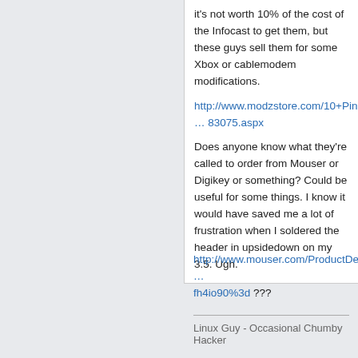it's not worth 10% of the cost of the Infocast to get them, but these guys sell them for some Xbox or cablemodem modifications.
http://www.modzstore.com/10+Pin+Solder… 83075.aspx
Does anyone know what they're called to order from Mouser or Digikey or something? Could be useful for some things. I know it would have saved me a lot of frustration when I soldered the header in upsidedown on my 3.5. Ugh.
http://www.mouser.com/ProductDetail/Har … fh4io90%3d ???
Linux Guy - Occasional Chumby Hacker